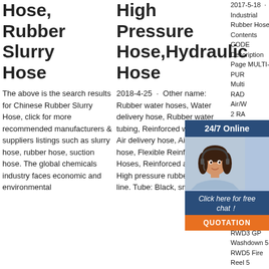Hose, Rubber Slurry Hose
The above is the search results for Chinese Rubber Slurry Hose, click for more recommended manufacturers & suppliers listings such as slurry hose, rubber hose, suction hose. The global chemicals industry faces economic and environmental
High Pressure Hose,Hydraulic Hose
2018-4-25 · Other name: Rubber water hoses, Water delivery hose, Rubber water tubing, Reinforced water hoses, Air delivery hose, Air rubber hose, Flexible Reinforced Air Hoses, Reinforced air tubing, High pressure rubber air pipe line. Tube: Black, smooth,
2017-5-18 · Industrial Rubber Hose Contents CODE Description Page MULTI-PUR Multi RAD Air/W 2 RA Air 2 Stee Eag 3 RA RAS1 Hot Air Blower & WATER RWD1 Water Delivery 4 RWD4 Straight Ra 4 RWD3 GP Washdown 5 RWD5 Fire Reel 5
[Figure (other): 24/7 Online chat widget with woman customer service representative photo, dark blue header, 'Click here for free chat!' text, and orange QUOTATION button]